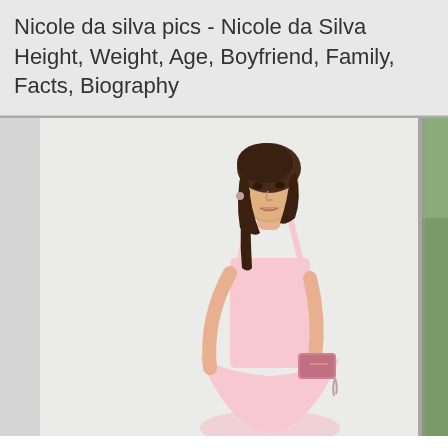Nicole da silva pics - Nicole da Silva Height, Weight, Age, Boyfriend, Family, Facts, Biography
[Figure (photo): A young woman with dark hair pulled back, wearing a light pink sleeveless dress and holding a pink clutch bag, standing in front of a white wall/door with greenery visible to the right.]